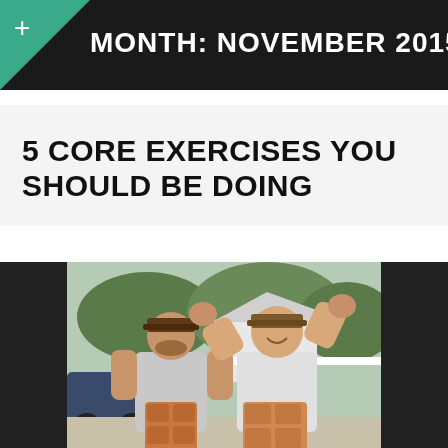MONTH: NOVEMBER 2015
5 CORE EXERCISES YOU SHOULD BE DOING
[Figure (photo): Two men posing flexing arms with exaggerated muscular abs, wearing grey t-shirts and baseball caps, outdoors with trees and a white fence behind them.]